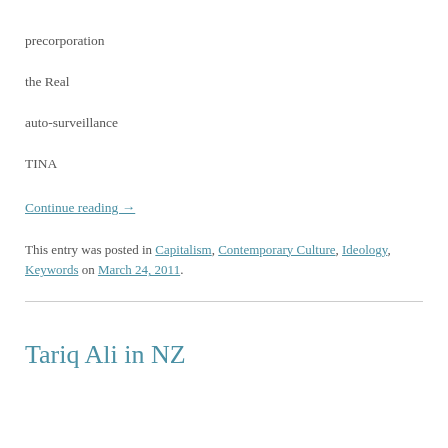precorporation
the Real
auto-surveillance
TINA
Continue reading →
This entry was posted in Capitalism, Contemporary Culture, Ideology, Keywords on March 24, 2011.
Tariq Ali in NZ